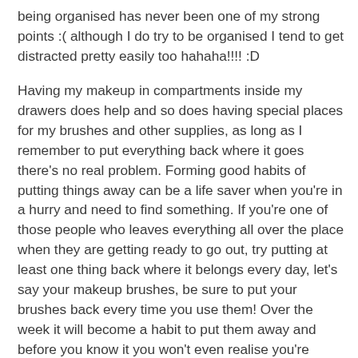being organised has never been one of my strong points :( although I do try to be organised I tend to get distracted pretty easily too hahaha!!!! :D
Having my makeup in compartments inside my drawers does help and so does having special places for my brushes and other supplies, as long as I remember to put everything back where it goes there's no real problem. Forming good habits of putting things away can be a life saver when you're in a hurry and need to find something. If you're one of those people who leaves everything all over the place when they are getting ready to go out, try putting at least one thing back where it belongs every day, let's say your makeup brushes, be sure to put your brushes back every time you use them! Over the week it will become a habit to put them away and before you know it you won't even realise you're doing it!!! :) The next week, try putting something else back once you're finished, let's say your hair accessories/products, do the same thing all week (as well as putting the brushes away) and before you know it you will be putting other things back where they belong too.